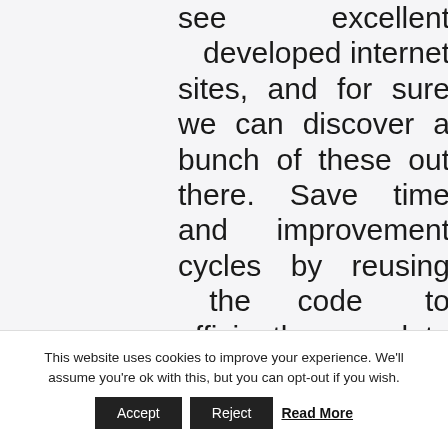see excellent developed internet sites, and for sure we can discover a bunch of these out there. Save time and improvement cycles by reusing the code to efficiently update and launch government web pages that are accessible and constant for your users. SiteWrench's core program is built on our fifteen years of knowledge and experience with web
This website uses cookies to improve your experience. We'll assume you're ok with this, but you can opt-out if you wish.
Accept   Reject   Read More